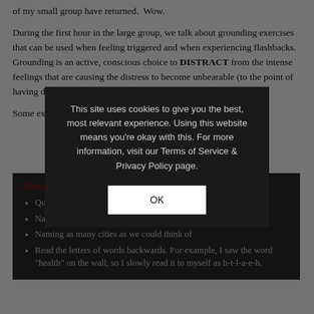of my small group have returned.  Wow.
During the first hour in the large group, we talk about grounding exercises that can be used when feeling triggered and when experiencing flashbacks.  Grounding is an active, conscious choice to DISTRACT from the intense feelings that are causing the distress to become unbearable (to the point of having dissociative episodes and/or flashbacks.)
Some examples that we went over and practiced in group include:
Mental Grounding:
Quick focusing – counting objects around the room
Naming as many types of animals as we could think of
Naming as many cities as we could think of
Read the letters of words backwards. For example, I saw the word "health" on the wall, so I slowly read it to myself as h-t-l-a-e-h.
This site uses cookies to give you the best, most relevant experience. Using this website means you're okay with this. For more information, visit our Terms of Service & Privacy Policy page.